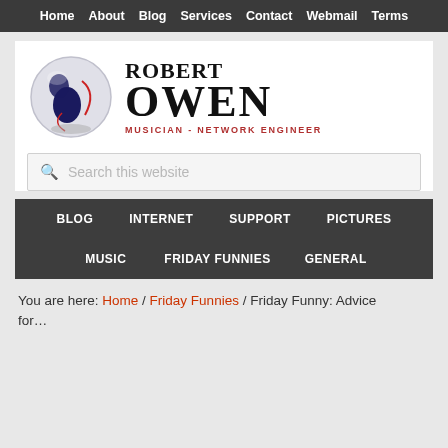Home | About | Blog | Services | Contact | Webmail | Terms
[Figure (logo): Robert Owen logo with abstract globe/chair graphic and text ROBERT OWEN MUSICIAN - NETWORK ENGINEER]
Search this website
BLOG | INTERNET | SUPPORT | PICTURES | MUSIC | FRIDAY FUNNIES | GENERAL
You are here: Home / Friday Funnies / Friday Funny: Advice f...